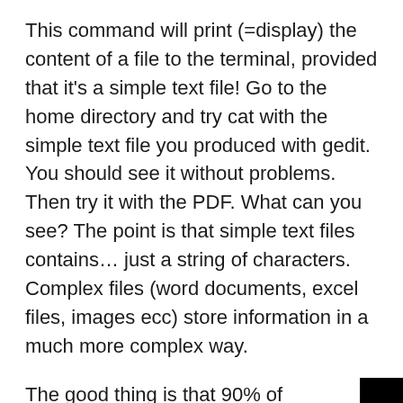This command will print (=display) the content of a file to the terminal, provided that it's a simple text file! Go to the home directory and try cat with the simple text file you produced with gedit. You should see it without problems. Then try it with the PDF. What can you see? The point is that simple text files contains… just a string of characters. Complex files (word documents, excel files, images ecc) store information in a much more complex way.
The good thing is that 90% of bioinformatics formats are simple text files. You should know at least two formats: FASTA and SAM. Try cat with the file you downloaded with wget.
wc
This command...